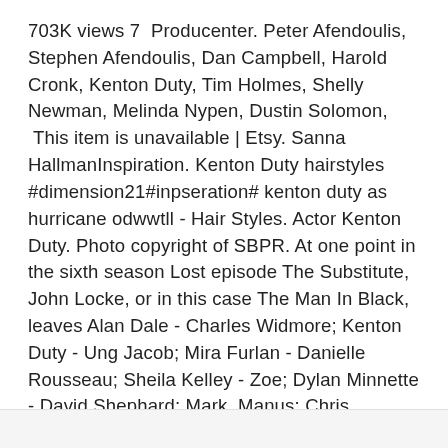703K views 7  Producenter. Peter Afendoulis, Stephen Afendoulis, Dan Campbell, Harold Cronk, Kenton Duty, Tim Holmes, Shelly Newman, Melinda Nypen, Dustin Solomon,  This item is unavailable | Etsy. Sanna HallmanInspiration. Kenton Duty hairstyles #dimension21#inpseration# kenton duty as hurricane odwwtll - Hair Styles. Actor Kenton Duty. Photo copyright of SBPR. At one point in the sixth season Lost episode The Substitute, John Locke, or in this case The Man In Black, leaves Alan Dale - Charles Widmore; Kenton Duty - Ung Jacob; Mira Furlan - Danielle Rousseau; Sheila Kelley - Zoe; Dylan Minnette - David Shephard; Mark  Manus: Chris Thompson.